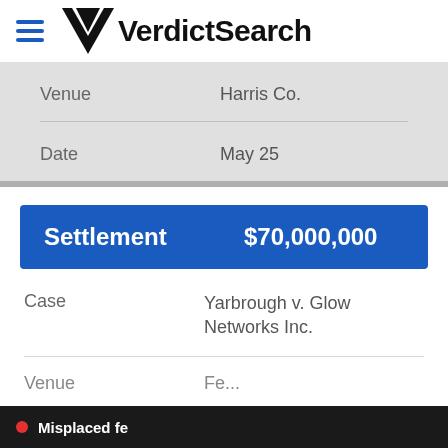VerdictSearch
| Field | Value |
| --- | --- |
| Venue | Harris Co. |
| Date | May 25 |
| Type | Amount |
| --- | --- |
| Settlement | $70,000,000 |
| Field | Value |
| --- | --- |
| Case | Yarbrough v. Glow Networks Inc. |
| Venue | Fe... |
Misplaced fe...